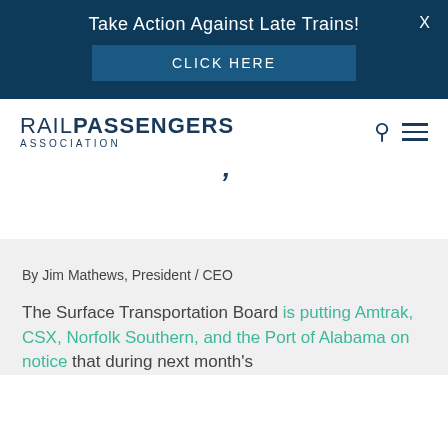Take Action Against Late Trains!
CLICK HERE
[Figure (logo): Rail Passengers Association logo with search and menu icons]
By Jim Mathews, President / CEO
The Surface Transportation Board is putting Amtrak, CSX, Norfolk Southern, and the Port of Alabama on notice that during next month's